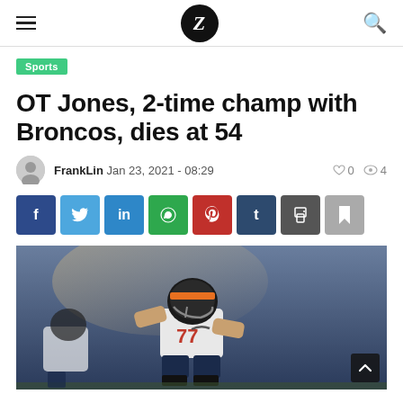Z logo navigation header with hamburger menu and search
Sports
OT Jones, 2-time champ with Broncos, dies at 54
FrankLin Jan 23, 2021 - 08:29   0  4
[Figure (infographic): Social sharing buttons: Facebook, Twitter, LinkedIn, WhatsApp, Pinterest, Tumblr, Print, Bookmark]
[Figure (photo): Football player wearing Denver Broncos helmet and white jersey number 77, in a lineman stance on the field]